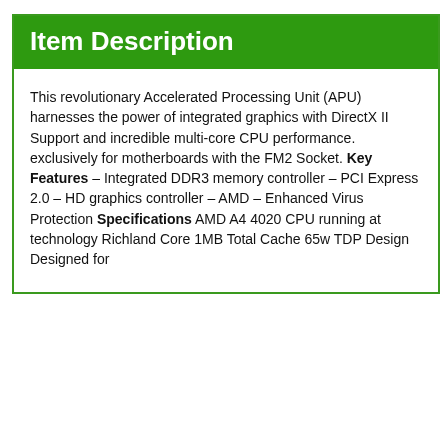Item Description
This revolutionary Accelerated Processing Unit (APU) harnesses the power of integrated graphics with DirectX II Support and incredible multi-core CPU performance. Designed exclusively for motherboards with the FM2 Socket. Key Features – Integrated DDR3 memory controller – PCI Express 2.0 – HD graphics controller – AMD – Enhanced Virus Protection Specifications AMD A4 4020 CPU running at technology Richland Core 1MB Total Cache 65w TDP Design Designed fo